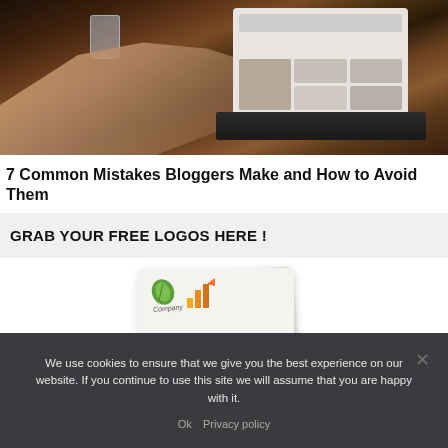[Figure (photo): Person using a laptop on a wooden desk, with a glass of water visible. The laptop screen shows a website with photo grid. Shot from above/side angle.]
7 Common Mistakes Bloggers Make and How to Avoid Them
GRAB YOUR FREE LOGOS HERE !
[Figure (illustration): Preview cards showing logo designs including a green leaf logo and an orange bar chart logo with 'Company' text label.]
We use cookies to ensure that we give you the best experience on our website. If you continue to use this site we will assume that you are happy with it.
Ok  Privacy policy